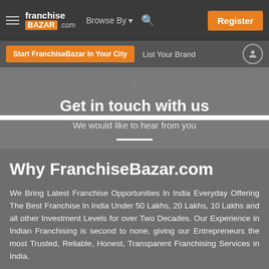franchise BAZAR .com | Browse By | Register
Start FranchiseBazar In Your City | List Your Brand
Get in touch with us
We would like to hear from you
Why FranchiseBazar.com
We Bring Latest Franchise Opportunities In India Everyday Offering The Best Franchise In India Under 50 Lakhs, 20 Lakhs, 10 Lakhs and all other Investment Levels for over Two Decades. Our Experience in Indian Franchising is second to none, giving our Entrepreneurs the most Trusted, Reliable, Honest, Transparent Franchising Services in India.